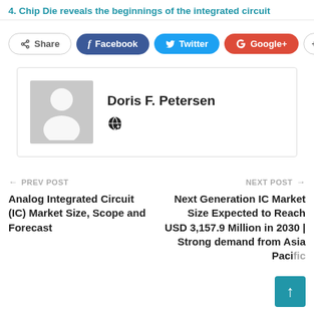4. Chip Die reveals the beginnings of the integrated circuit
Share | Facebook | Twitter | Google+ | +
Doris F. Petersen
PREV POST — Analog Integrated Circuit (IC) Market Size, Scope and Forecast
NEXT POST — Next Generation IC Market Size Expected to Reach USD 3,157.9 Million in 2030 | Strong demand from Asia Pacific